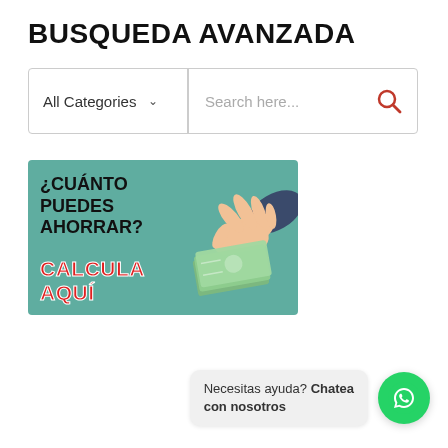BUSQUEDA AVANZADA
[Figure (screenshot): Search bar with 'All Categories' dropdown and 'Search here...' input field with a red magnifying glass icon]
[Figure (infographic): Teal background banner with text '¿CUÁNTO PUEDES AHORRAR?' in bold black and 'CALCULA AQUÍ' in bold red, with an illustration of a hand holding money bills]
Necesitas ayuda? Chatea con nosotros